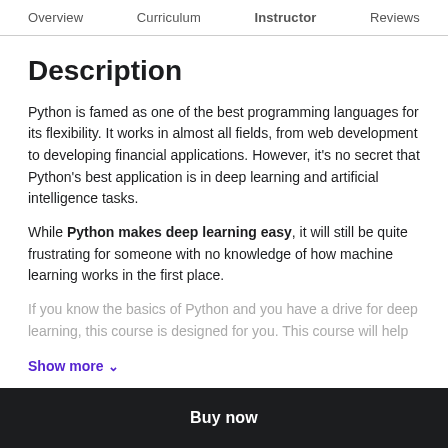Overview  Curriculum  Instructor  Reviews
Description
Python is famed as one of the best programming languages for its flexibility. It works in almost all fields, from web development to developing financial applications. However, it's no secret that Python's best application is in deep learning and artificial intelligence tasks.
While Python makes deep learning easy, it will still be quite frustrating for someone with no knowledge of how machine learning works in the first place.
If you know the basics of Python and you have a drive for deep learning, this course is designed for you. This course will help
Show more ∨
Buy now